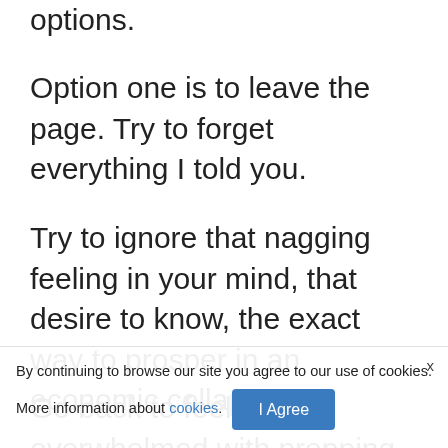options.
Option one is to leave the page. Try to forget everything I told you.
Try to ignore that nagging feeling in your mind, that desire to know, the exact way to prosper in an economic collapse.
Go back to feeling overwhelmed with prepping, and even preparing for the crisis the wrong way.
Not to be a pessimist, but you already know that this is the course of action most American people will take.
They're going to keep their heads in the
By continuing to browse our site you agree to our use of cookies. More information about cookies. I Agree